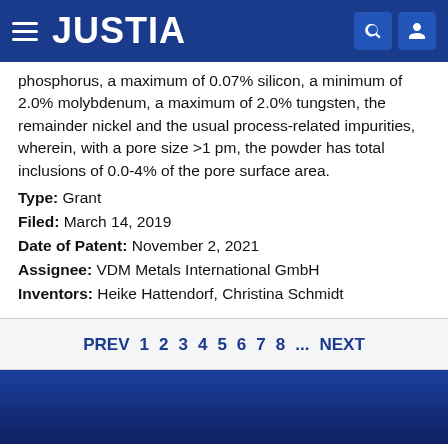JUSTIA
phosphorus, a maximum of 0.07% silicon, a minimum of 2.0% molybdenum, a maximum of 2.0% tungsten, the remainder nickel and the usual process-related impurities, wherein, with a pore size >1 pm, the powder has total inclusions of 0.0-4% of the pore surface area.
Type: Grant
Filed: March 14, 2019
Date of Patent: November 2, 2021
Assignee: VDM Metals International GmbH
Inventors: Heike Hattendorf, Christina Schmidt
PREV 1 2 3 4 5 6 7 8 ... NEXT